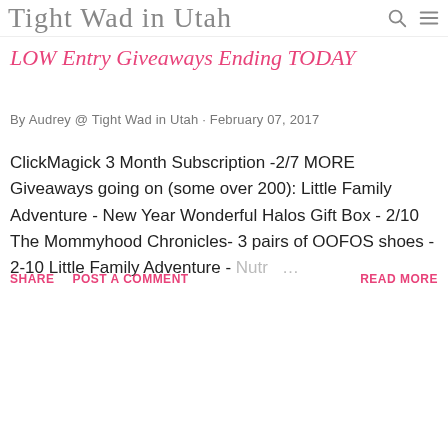Tight Wad in Utah
LOW Entry Giveaways Ending TODAY
By Audrey @ Tight Wad in Utah · February 07, 2017
ClickMagick 3 Month Subscription -2/7 MORE Giveaways going on (some over 200): Little Family Adventure - New Year Wonderful Halos Gift Box - 2/10 The Mommyhood Chronicles- 3 pairs of OOFOS shoes - 2-10 Little Family Adventure - Nutr ...
SHARE   POST A COMMENT   READ MORE